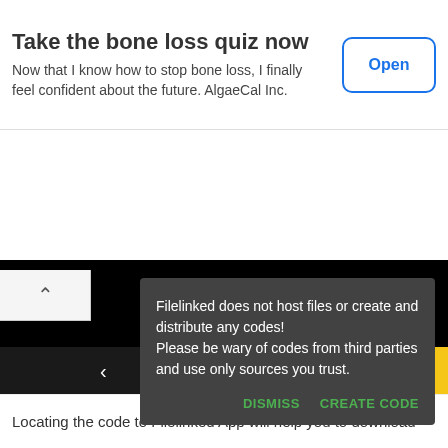[Figure (screenshot): Mobile ad banner with title 'Take the bone loss quiz now' and subtitle text 'Now that I know how to stop bone loss, I finally feel confident about the future. AlgaeCal Inc.' with an Open button]
[Figure (screenshot): Android app screenshot showing Filelinked app with a dark dialog box warning: 'Filelinked does not host files or create and distribute any codes! Please be wary of codes from third parties and use only sources you trust.' with DISMISS and CREATE CODE buttons, dark background, Android nav bar]
Locating the code to Filelinked App will help you to download